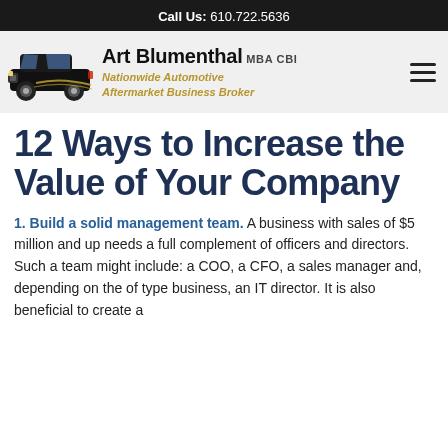Call Us: 610.722.5636
[Figure (logo): Art Blumenthal MBA CBI logo with black SUV car graphic. Text: 'Art Blumenthal MBA CBI' and 'Nationwide Automotive Aftermarket Business Broker' in gold italic.]
12 Ways to Increase the Value of Your Company
1. Build a solid management team. A business with sales of $5 million and up needs a full complement of officers and directors. Such a team might include: a COO, a CFO, a sales manager and, depending on the of type business, an IT director. It is also beneficial to create a